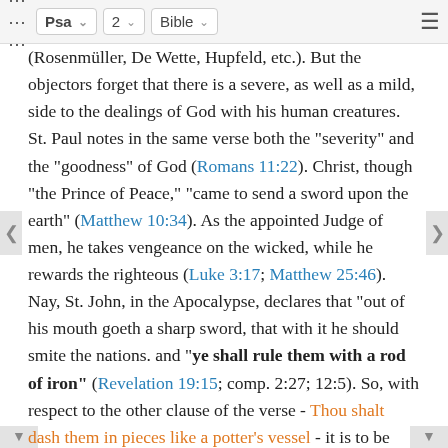Psa 2 Bible
(Rosenmüller, De Wette, Hupfeld, etc.). But the objectors forget that there is a severe, as well as a mild, side to the dealings of God with his human creatures. St. Paul notes in the same verse both the "severity" and the "goodness" of God (Romans 11:22). Christ, though "the Prince of Peace," "came to send a sword upon the earth" (Matthew 10:34). As the appointed Judge of men, he takes vengeance on the wicked, while he rewards the righteous (Luke 3:17; Matthew 25:46). Nay, St. John, in the Apocalypse, declares that "out of his mouth goeth a sharp sword, that with it he should smite the nations. and "ye shall rule them with a rod of iron" (Revelation 19:15; comp. 2:27; 12:5). So, with respect to the other clause of the verse - Thou shalt dash them in pieces like a potter's vessel - it is to be noted that there is a similar threat made by the Lord of hosts against Jerusalem in the